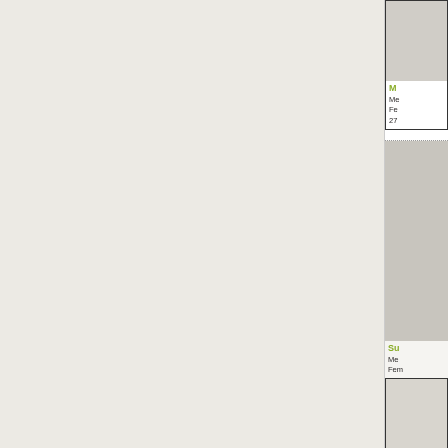[Figure (photo): Large light-colored background panel occupying the left portion of the page]
[Figure (photo): Card 1 thumbnail image (gray/beige)]
M...
Me...
Fe...
27...
[Figure (photo): Card 2 large thumbnail image (gray/beige)]
Su...
Me...
Fem...
25 y...
[Figure (photo): Card 3 thumbnail image (gray/beige)]